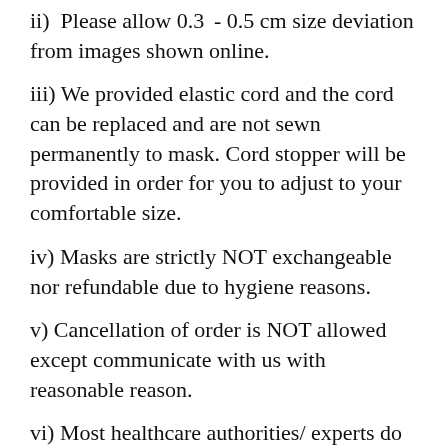ii)  Please allow 0.3  - 0.5 cm size deviation from images shown online.
iii) We provided elastic cord and the cord can be replaced and are not sewn permanently to mask. Cord stopper will be provided in order for you to adjust to your comfortable size.
iv) Masks are strictly NOT exchangeable nor refundable due to hygiene reasons.
v) Cancellation of order is NOT allowed except communicate with us with reasonable reason.
vi) Most healthcare authorities/ experts do not recommend children under 2 to wear masks for safety reasons.